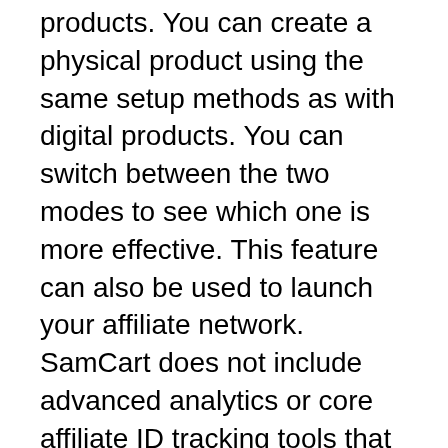products. You can create a physical product using the same setup methods as with digital products. You can switch between the two modes to see which one is more effective. This feature can also be used to launch your affiliate network. SamCart does not include advanced analytics or core affiliate ID tracking tools that will help you optimize your affiliate marketing campaigns.
SamCart supports multiple payment providers in addition to collecting customer information. To ensure that your customers pay the correct price for your products, you can integrate PayPal, Post Affiliate Pro and ShipStation. If you are not satisfied with the SamCart subscription, you can opt out. SamCart is the best choice for...